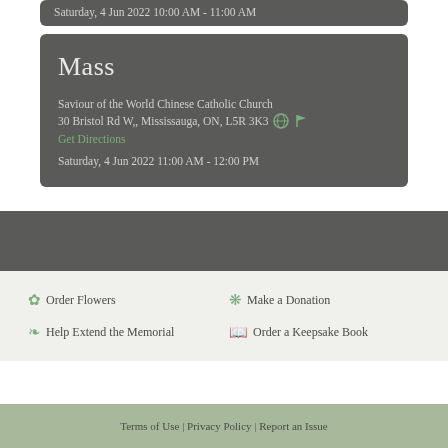Saturday, 4 Jun 2022 10:00 AM - 11:00 AM
Mass
Saviour of the World Chinese Catholic Church
30 Bristol Rd W,, Mississauga, ON, L5R 3K3
Get Directions
Saturday, 4 Jun 2022 11:00 AM - 12:00 PM
Order Flowers
Make a Donation
Help Extend the Memorial
Order a Keepsake Book
Terms of Use | Privacy Policy | Report an Issue